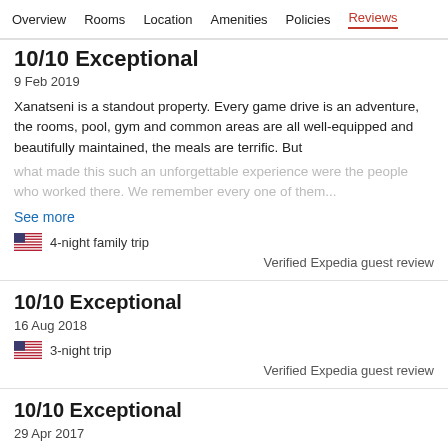Overview  Rooms  Location  Amenities  Policies  Reviews
10/10 Exceptional
9 Feb 2019
Xanatseni is a standout property. Every game drive is an adventure, the rooms, pool, gym and common areas are all well-equipped and beautifully maintained, the meals are terrific. But what made this such an unforgettable experience were the people who worked there. We remember every one of them...
See more
4-night family trip
Verified Expedia guest review
10/10 Exceptional
16 Aug 2018
3-night trip
Verified Expedia guest review
10/10 Exceptional
29 Apr 2017